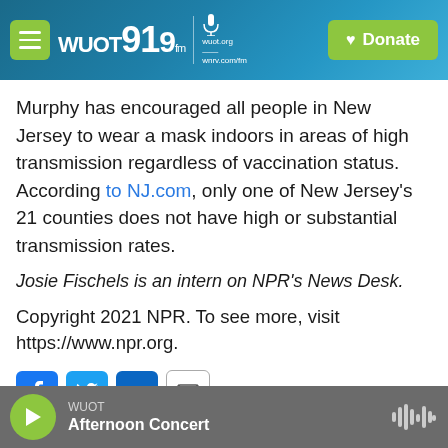[Figure (screenshot): WUOT 91.9 FM radio station website header with hamburger menu, logo, microphone icon, and green Donate button on teal/blue gradient background]
Murphy has encouraged all people in New Jersey to wear a mask indoors in areas of high transmission regardless of vaccination status. According to NJ.com, only one of New Jersey's 21 counties does not have high or substantial transmission rates.
Josie Fischels is an intern on NPR's News Desk.
Copyright 2021 NPR. To see more, visit https://www.npr.org.
[Figure (screenshot): Social media sharing buttons: Facebook (blue), Twitter (blue), LinkedIn (blue), and email (outlined) icons]
[Figure (screenshot): WUOT radio player bar at bottom: green play button, WUOT station name, Afternoon Concert show name, and waveform visualization icon on gray background]